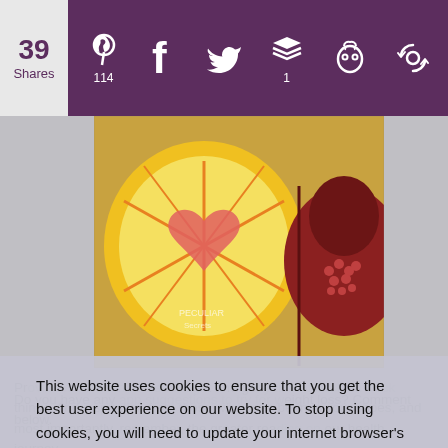[Figure (screenshot): Social sharing bar with purple background showing share count (39 Shares), Pinterest (114), Facebook, Twitter, Buffer (1), Hootsuite, and another icon]
[Figure (photo): Photo of cut citrus fruit (grapefruit/orange) and pomegranate with a watermark reading 'Peculiar' — partial view]
This website uses cookies to ensure that you get the best user experience on our website. To stop using cookies, you will need to update your internet browser's settings. (I am required by law to show you this popup). Learn more
[Figure (screenshot): Cookie consent popup with 'Got it! No prob, Bob!' button]
Do you have any... weight loss? Comment below.